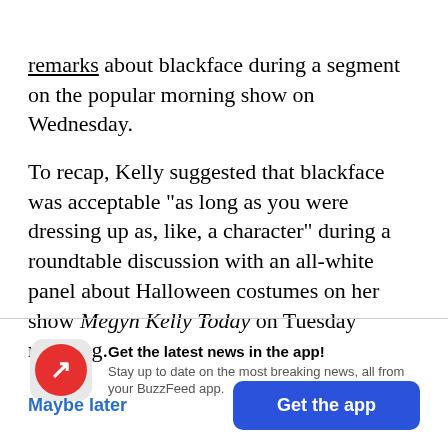remarks about blackface during a segment on the popular morning show on Wednesday.
To recap, Kelly suggested that blackface was acceptable "as long as you were dressing up as, like, a character" during a roundtable discussion with an all-white panel about Halloween costumes on her show Megyn Kelly Today on Tuesday morning.
[Figure (infographic): BuzzFeed app promotion banner with red circular icon containing white arrow logo, text 'Get the latest news in the app!' and subtext 'Stay up to date on the most breaking news, all from your BuzzFeed app.']
Maybe later
Get the app